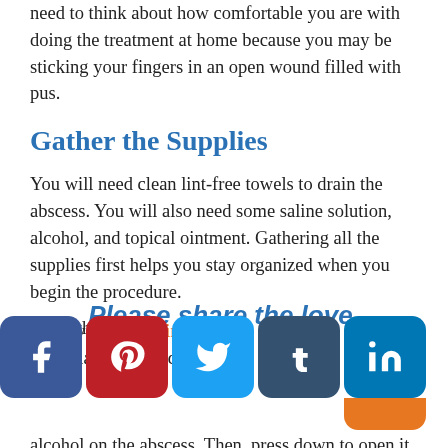need to think about how comfortable you are with doing the treatment at home because you may be sticking your fingers in an open wound filled with pus.
Gather the Supplies
You will need clean lint-free towels to drain the abscess. You will also need some saline solution, alcohol, and topical ointment. Gathering all the supplies first helps you stay organized when you begin the procedure.
Drain the Abscess
[Figure (infographic): Cursive overlay text reading 'Please share the love.' in blue italic font over the article content]
...st thi...t you...to do...drain ...ss. St...placin...towe...ked in alcohol on the abscess. Then, press down to open it up. Try to get as much of the pus out as you
[Figure (infographic): Social media sharing buttons: Facebook (blue), Pinterest (red), Twitter (light blue), Tumblr (dark blue), LinkedIn (blue with orange accent)]